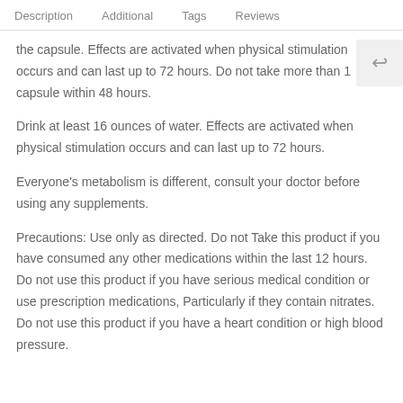Description   Additional   Tags   Reviews
the capsule. Effects are activated when physical stimulation occurs and can last up to 72 hours. Do not take more than 1 capsule within 48 hours.
Drink at least 16 ounces of water. Effects are activated when physical stimulation occurs and can last up to 72 hours.
Everyone's metabolism is different, consult your doctor before using any supplements.
Precautions: Use only as directed. Do not Take this product if you have consumed any other medications within the last 12 hours. Do not use this product if you have serious medical condition or use prescription medications, Particularly if they contain nitrates. Do not use this product if you have a heart condition or high blood pressure.